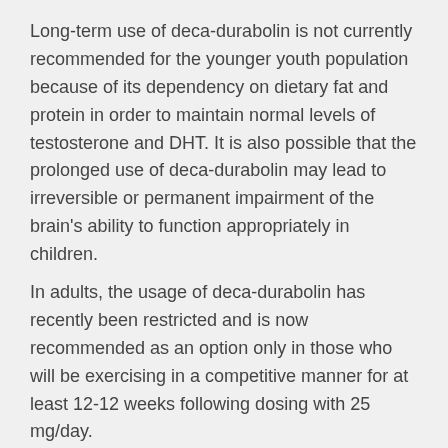Long-term use of deca-durabolin is not currently recommended for the younger youth population because of its dependency on dietary fat and protein in order to maintain normal levels of testosterone and DHT. It is also possible that the prolonged use of deca-durabolin may lead to irreversible or permanent impairment of the brain's ability to function appropriately in children.
In adults, the usage of deca-durabolin has recently been restricted and is now recommended as an option only in those who will be exercising in a competitive manner for at least 12-12 weeks following dosing with 25 mg/day.
Frequently Asked Questions
Why are deca-durabolin's side effects so serious?
Deca-durabolin is often abused by individuals who are concerned themselves with safety and not with the